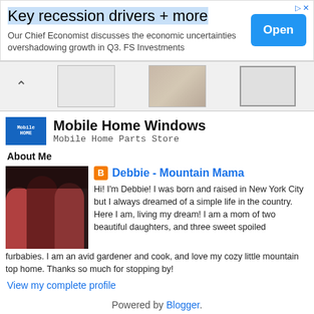[Figure (screenshot): Advertisement banner: 'Key recession drivers + more' with Open button]
[Figure (screenshot): Product image carousel showing window thumbnails with up arrow]
Mobile Home Windows
Mobile Home Parts Store
About Me
[Figure (photo): Photo of three women]
Debbie - Mountain Mama
Hi! I'm Debbie! I was born and raised in New York City but I always dreamed of a simple life in the country. Here I am, living my dream! I am a mom of two beautiful daughters, and three sweet spoiled furbabies. I am an avid gardener and cook, and love my cozy little mountain top home. Thanks so much for stopping by!
View my complete profile
Powered by Blogger.